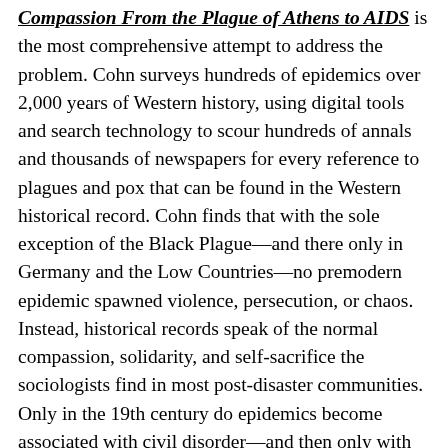Compassion From the Plague of Athens to AIDS is the most comprehensive attempt to address the problem. Cohn surveys hundreds of epidemics over 2,000 years of Western history, using digital tools and search technology to scour hundreds of annals and thousands of newspapers for every reference to plagues and pox that can be found in the Western historical record. Cohn finds that with the sole exception of the Black Plague—and there only in Germany and the Low Countries—no premodern epidemic spawned violence, persecution, or chaos. Instead, historical records speak of the normal compassion, solidarity, and self-sacrifice the sociologists find in most post-disaster communities. Only in the 19th century do epidemics become associated with civil disorder—and then only with three specific diseases: the bubonic plague, cholera, and smallpox.